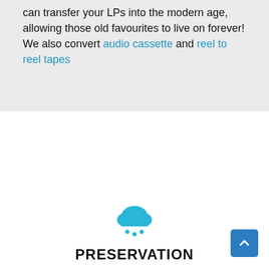can transfer your LPs into the modern age, allowing those old favourites to live on forever! We also convert audio cassette and reel to reel tapes
[Figure (illustration): A blue cloud icon with three rain drops falling beneath it, representing preservation/cloud storage.]
PRESERVATION